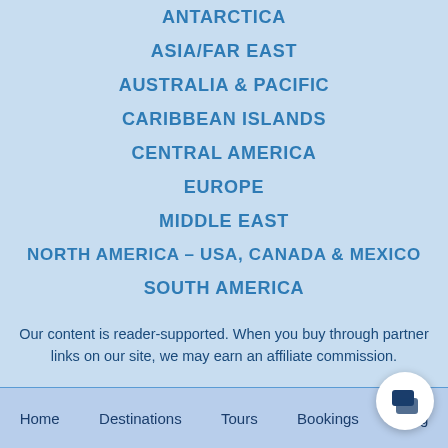ANTARCTICA
ASIA/FAR EAST
AUSTRALIA & PACIFIC
CARIBBEAN ISLANDS
CENTRAL AMERICA
EUROPE
MIDDLE EAST
NORTH AMERICA – USA, CANADA & MEXICO
SOUTH AMERICA
Our content is reader-supported. When you buy through partner links on our site, we may earn an affiliate commission.
Home   Destinations   Tours   Bookings   Blog